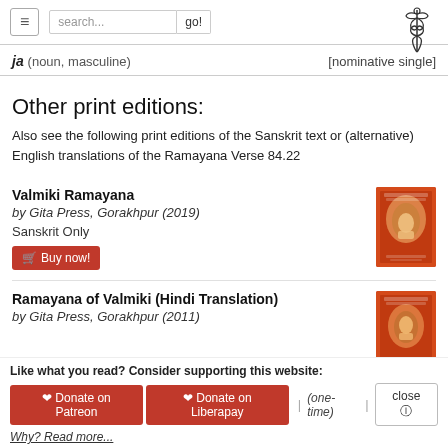search... go!
ja (noun, masculine) [nominative single]
Other print editions:
Also see the following print editions of the Sanskrit text or (alternative) English translations of the Ramayana Verse 84.22
Valmiki Ramayana
by Gita Press, Gorakhpur (2019)
Sanskrit Only
Buy now!
[Figure (illustration): Orange book cover with Sanskrit text and figure of a seated sage]
Ramayana of Valmiki (Hindi Translation)
by Gita Press, Gorakhpur (2011)
[Figure (illustration): Orange book cover with Hindi/Sanskrit text]
Like what you read? Consider supporting this website: Donate on Patreon | Donate on Liberapay | (one-time) | close. Why? Read more...